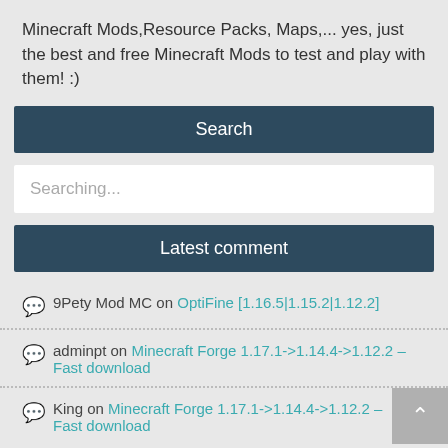Minecraft Mods,Resource Packs, Maps,... yes, just the best and free Minecraft Mods to test and play with them! :)
Search
Searching...
Latest comment
9Pety Mod MC on OptiFine [1.16.5|1.15.2|1.12.2]
adminpt on Minecraft Forge 1.17.1->1.14.4->1.12.2 – Fast download
King on Minecraft Forge 1.17.1->1.14.4->1.12.2 – Fast download